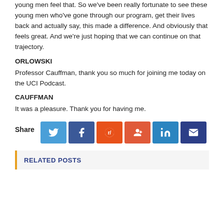young men feel that. So we've been really fortunate to see these young men who've gone through our program, get their lives back and actually say, this made a difference. And obviously that feels great. And we're just hoping that we can continue on that trajectory.
ORLOWSKI
Professor Cauffman, thank you so much for joining me today on the UCI Podcast.
CAUFFMAN
It was a pleasure. Thank you for having me.
Share
RELATED POSTS